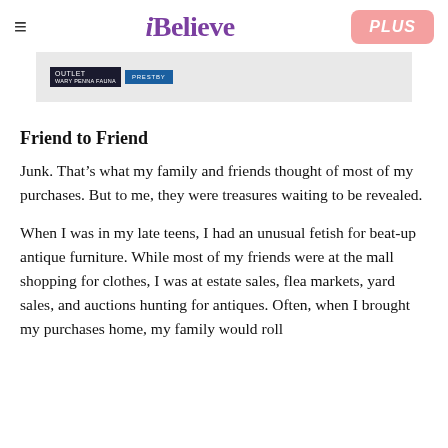iBelieve   PLUS
[Figure (screenshot): Partial advertisement image with dark navy and blue badge logos on a light gray background]
Friend to Friend
Junk. That’s what my family and friends thought of most of my purchases. But to me, they were treasures waiting to be revealed.
When I was in my late teens, I had an unusual fetish for beat-up antique furniture. While most of my friends were at the mall shopping for clothes, I was at estate sales, flea markets, yard sales, and auctions hunting for antiques. Often, when I brought my purchases home, my family would roll